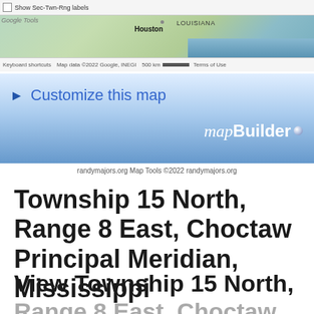[Figure (screenshot): Screenshot of Google Maps showing Houston and Louisiana area with map tools interface]
[Figure (screenshot): mapBuilder banner with 'Customize this map' heading and blue gradient background]
randymajors.org Map Tools ©2022 randymajors.org
Township 15 North, Range 8 East, Choctaw Principal Meridian, Mississippi
View Township 15 North, Range 8 East, Choctaw Principal Meridian,